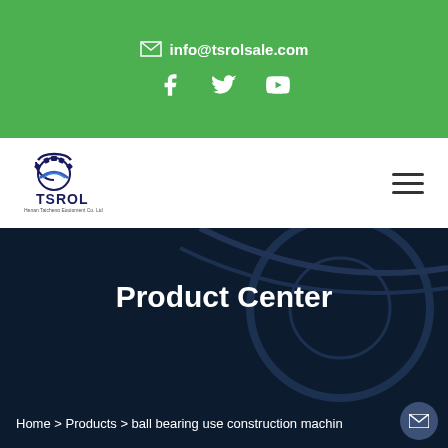info@tsrolsale.com
[Figure (logo): TSROL company logo with gear/cog symbol and text 'Henan Taicheng Equipment Co. Ltd']
Product Center
Home > Products > ball bearing use construction machin